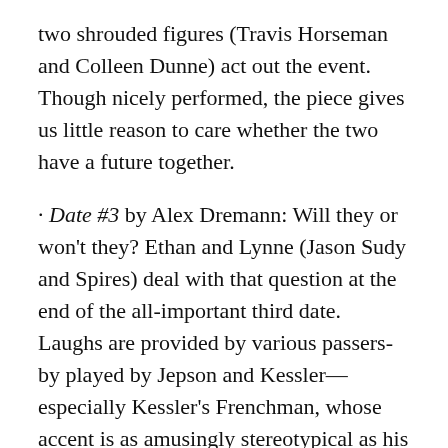two shrouded figures (Travis Horseman and Colleen Dunne) act out the event. Though nicely performed, the piece gives us little reason to care whether the two have a future together.
· Date #3 by Alex Dremann: Will they or won't they? Ethan and Lynne (Jason Sudy and Spires) deal with that question at the end of the all-important third date. Laughs are provided by various passers-by played by Jepson and Kessler—especially Kessler's Frenchman, whose accent is as amusingly stereotypical as his philosophical wisdom about the ways of the heart.